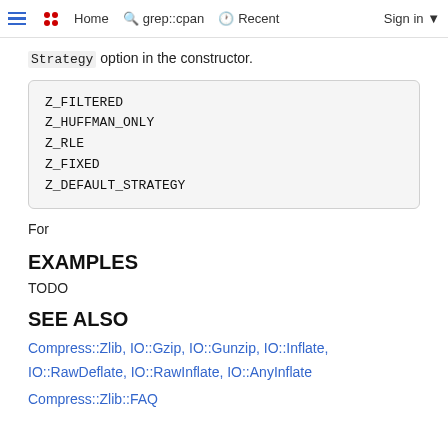Home  grep::cpan  Recent  Sign in
Strategy option in the constructor.
Z_FILTERED
Z_HUFFMAN_ONLY
Z_RLE
Z_FIXED
Z_DEFAULT_STRATEGY
For
EXAMPLES
TODO
SEE ALSO
Compress::Zlib, IO::Gzip, IO::Gunzip, IO::Inflate, IO::RawDeflate, IO::RawInflate, IO::AnyInflate
Compress::Zlib::FAQ